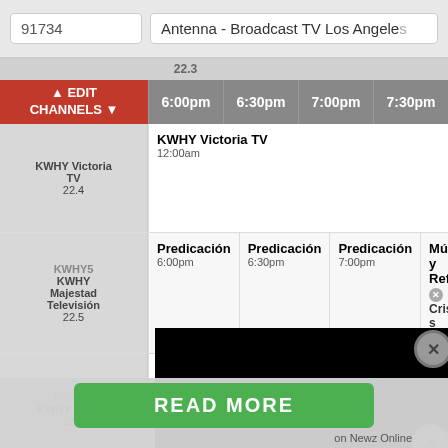91734
Antenna - Broadcast TV Los Angeles
| Channel | 6:00pm | 6:30pm | 7:00pm | 7:30pm |
| --- | --- | --- | --- | --- |
| KWHY Victoria TV 22.4 | KWHY Victoria TV 12:00am |  |  |  |
| KWHY5 KWHY Majestad Televisión 22.5 | Predicación 6:00pm | Predicación 6:30pm | Predicación 7:00pm | Música y Reflexiones Cristianas |
| KWHY6 KWHY HLSTV 22.6 | KWHY HLSTV 12:00am |  |  |  |
| KWHY7 KWHY AWM TV 22.7 | KWHY AWM TV 12:00am |  |  |  |
READ MORE
on Newz Online